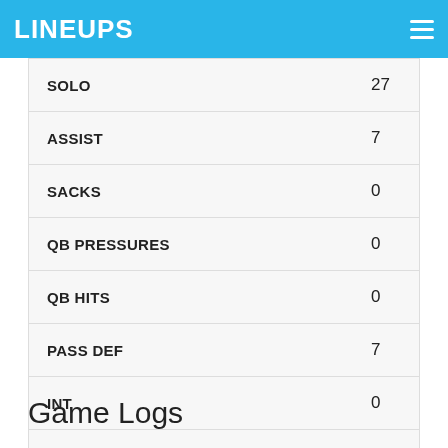LINEUPS
| Stat | Value |
| --- | --- |
| SOLO | 27 |
| ASSIST | 7 |
| SACKS | 0 |
| QB PRESSURES | 0 |
| QB HITS | 0 |
| PASS DEF | 7 |
| INT | 0 |
| FF | 0 |
| FR | 0 |
| TD | 0 |
Game Logs